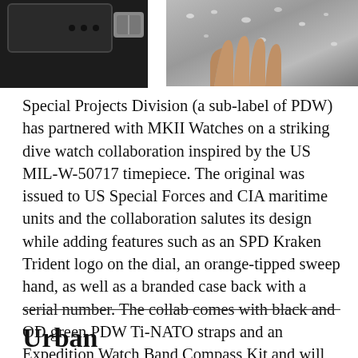[Figure (photo): Two photos side by side: left shows a dark watch strap with buckle detail; right shows a hand touching a wet metallic surface with water droplets.]
Special Projects Division (a sub-label of PDW) has partnered with MKII Watches on a striking dive watch collaboration inspired by the US MIL-W-50717 timepiece. The original was issued to US Special Forces and CIA maritime units and the collaboration salutes its design while adding features such as an SPD Kraken Trident logo on the dial, an orange-tipped sweep hand, as well as a branded case back with a serial number. The collab comes with black and OD green PDW Ti-NATO straps and an Expedition Watch Band Compass Kit and will launch on 4th July at 1200 PDT.
Urban